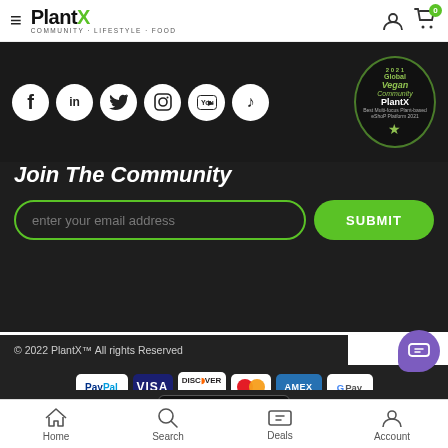PlantX — COMMUNITY · LIFESTYLE · FOOD
[Figure (screenshot): Social media icons (Facebook, LinkedIn, Twitter, Instagram, YouTube, TikTok) in white circles on dark background, with Global Vegan Community award badge for PlantX on the right]
Join The Community
enter your email address
SUBMIT
© 2022 PlantX™ All rights Reserved
[Figure (logo): Payment method logos: PayPal, Visa, Discover, Mastercard, Amex, Google Pay]
[Figure (logo): Available at Amazon Appstore badge]
Home  Search  Deals  Account